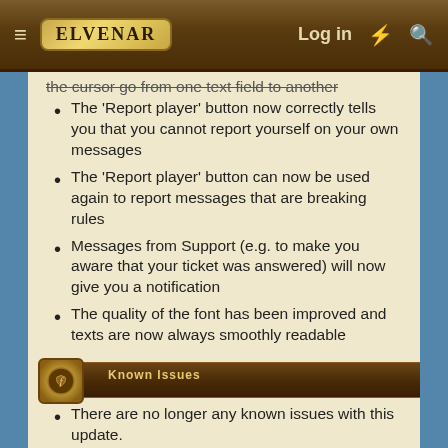≡  ELVENAR    Log in  ⚡  🔍
the cursor go from one text field to another (strikethrough)
The 'Report player' button now correctly tells you that you cannot report yourself on your own messages
The 'Report player' button can now be used again to report messages that are breaking rules
Messages from Support (e.g. to make you aware that your ticket was answered) will now give you a notification
The quality of the font has been improved and texts are now always smoothly readable
Known Issues
There are no longer any known issues with this update.
As always, we are looking forward to your feedback.